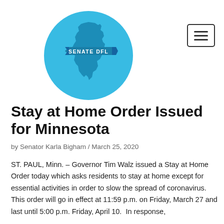[Figure (logo): Senate DFL logo: circular light blue badge with a darker blue silhouette of the state of Minnesota and a banner reading SENATE DFL in white bold text]
Stay at Home Order Issued for Minnesota
by Senator Karla Bigham / March 25, 2020
ST. PAUL, Minn. – Governor Tim Walz issued a Stay at Home Order today which asks residents to stay at home except for essential activities in order to slow the spread of coronavirus. This order will go in effect at 11:59 p.m. on Friday, March 27 and last until 5:00 p.m. Friday, April 10.  In response,